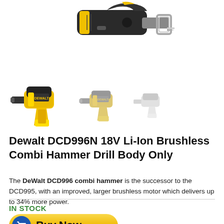[Figure (photo): Top portion of a Dewalt power tool (jigsaw or reciprocating saw) in black and yellow, shown from above against white background.]
[Figure (photo): Three Dewalt DCD996 combi hammer drills shown side by side in decreasing opacity/size, black and yellow, against white background.]
Dewalt DCD996N 18V Li-Ion Brushless Combi Hammer Drill Body Only
The DeWalt DCD996 combi hammer is the successor to the DCD995, with an improved, larger brushless motor which delivers up to 34% more power.
IN STOCK
[Figure (other): Yellow Buy Now button with blue shopping cart icon on the left.]